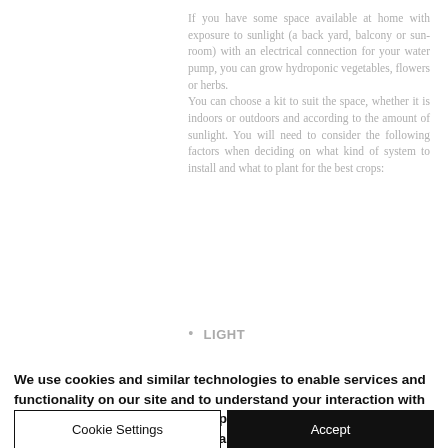If you have some space available at home with exposure to sunlight (a back yard, balcony or sun-room) with an electrical connection for your water pump, you can grow hydroponic vegetables, flowers or herbs. You can choose a kit to suit the space, whether it is indoors or outdoors and according to the amount of sunlight. You will need to consider the following factors when deciding on what kind of system to install and what to plant for the best crops:
LIGHT
We use cookies and similar technologies to enable services and functionality on our site and to understand your interaction with our service. By clicking on accept, you agree to our use of such technologies for marketing and analytics. See Privacy Policy